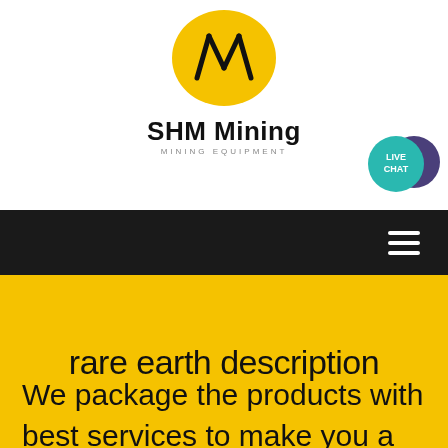[Figure (logo): SHM Mining logo with yellow oval containing black stylized W/lines, company name 'SHM Mining' in bold and 'MINING EQUIPMENT' subtitle]
[Figure (illustration): Live Chat button: teal circle with 'LIVE CHAT' text and dark purple speech bubble icon]
[Figure (other): Black navigation bar with white hamburger menu icon (three horizontal lines) on the right]
rare earth description
We package the products with best services to make you a happy